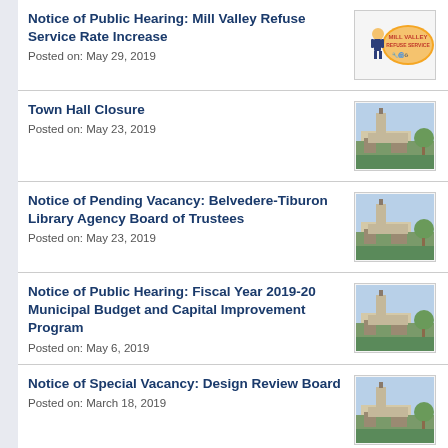Notice of Public Hearing: Mill Valley Refuse Service Rate Increase
Posted on: May 29, 2019
[Figure (logo): Mill Valley Refuse Service logo with cartoon figure]
Town Hall Closure
Posted on: May 23, 2019
[Figure (photo): Photo of town hall building]
Notice of Pending Vacancy: Belvedere-Tiburon Library Agency Board of Trustees
Posted on: May 23, 2019
[Figure (photo): Photo of town hall building]
Notice of Public Hearing: Fiscal Year 2019-20 Municipal Budget and Capital Improvement Program
Posted on: May 6, 2019
[Figure (photo): Photo of town hall building]
Notice of Special Vacancy: Design Review Board
Posted on: March 18, 2019
[Figure (photo): Photo of town hall building]